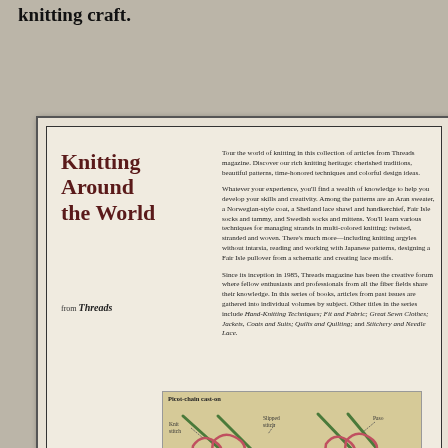knitting craft.
[Figure (photo): Book cover for 'Knitting Around the World' from Threads magazine, showing title, description text, and an illustration of picot-chain cast-on technique with knitting diagrams.]
Knitting Around the World
from Threads
Tour the world of knitting in this collection of articles from Threads magazine. Discover our rich knitting heritage: cherished traditions, beautiful patterns, time-honored techniques and colorful design ideas.

Whatever your experience, you'll find a wealth of knowledge to help you develop your skills and creativity. Among the patterns are an Aran sweater, a Norwegian-style coat, a Shetland lace shawl and handkerchief, Fair Isle socks and tammy, and Swedish socks and mittens. You'll learn various techniques for managing strands in multi-colored knitting: twisted, stranded and woven. There's much more—including knitting argyles without intarsia, reading and working with Japanese patterns, designing a Fair Isle pullover from a schematic and creating lace motifs.

Since its inception in 1985, Threads magazine has been the creative forum where fellow enthusiasts and professionals from all the fiber fields share their knowledge. In this series of books, articles from past issues are gathered into individual volumes by subject. Other titles in the series include Hand-Knitting Techniques; Fit and Fabric; Great Sewn Clothes; Jackets, Coats and Suits; Quilts and Quilting; and Stitchery and Needle Lace.
[Figure (illustration): Illustration showing Picot-chain cast-on technique with labeled parts: Knit stitch, Slipped stitch, Paso, Float loop. Caption reads: Cast on 2 sts. Slip 1st st p-wise wyif. Then bring yarn over needle to back to knit 2nd st (3 loops on needle). Paso.]
Picot-chain cast-on
Picot selvage